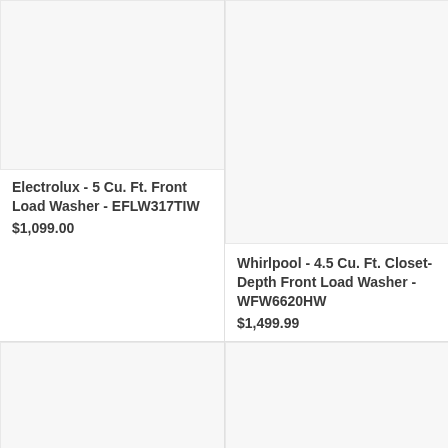[Figure (photo): Product image placeholder for Electrolux front load washer, light gray background]
Electrolux - 5 Cu. Ft. Front Load Washer - EFLW317TIW
$1,099.00
[Figure (photo): Product image placeholder for Whirlpool closet-depth front load washer, light gray background]
Whirlpool - 4.5 Cu. Ft. Closet-Depth Front Load Washer - WFW6620HW
$1,499.99
[Figure (photo): Product image placeholder bottom-left, light gray background]
[Figure (photo): Product image placeholder bottom-right, light gray background]